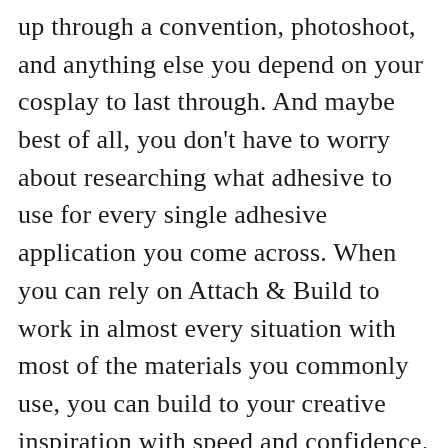up through a convention, photoshoot, and anything else you depend on your cosplay to last through. And maybe best of all, you don't have to worry about researching what adhesive to use for every single adhesive application you come across. When you can rely on Attach & Build to work in almost every situation with most of the materials you commonly use, you can build to your creative inspiration with speed and confidence.